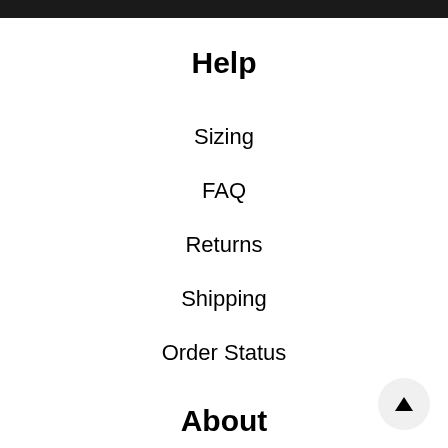Help
Sizing
FAQ
Returns
Shipping
Order Status
About